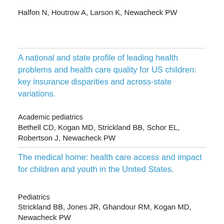Halfon N, Houtrow A, Larson K, Newacheck PW
A national and state profile of leading health problems and health care quality for US children: key insurance disparities and across-state variations.
Academic pediatrics
Bethell CD, Kogan MD, Strickland BB, Schor EL, Robertson J, Newacheck PW
The medical home: health care access and impact for children and youth in the United States.
Pediatrics
Strickland BB, Jones JR, Ghandour RM, Kogan MD, Newacheck PW